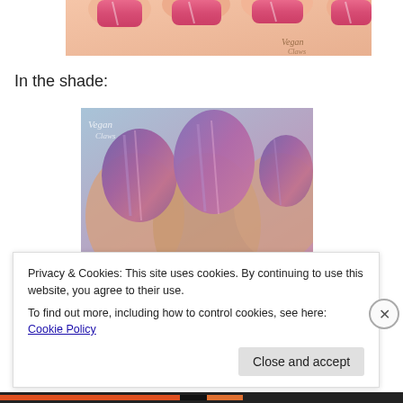[Figure (photo): Close-up photo of a hand with pink/shimmery nail polish on fingernails, partially cropped at top of page. Watermark reads 'Vegan Claws'.]
In the shade:
[Figure (photo): Close-up photo of fingernails painted with purple/duochrome nail polish in shade. Watermark reads 'Vegan Claws'.]
Privacy & Cookies: This site uses cookies. By continuing to use this website, you agree to their use.
To find out more, including how to control cookies, see here: Cookie Policy
Close and accept